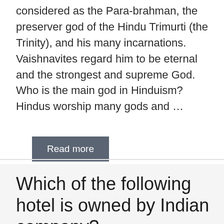considered as the Para-brahman, the preserver god of the Hindu Trimurti (the Trinity), and his many incarnations. Vaishnavites regard him to be eternal and the strongest and supreme God. Who is the main god in Hinduism? Hindus worship many gods and …
Read more
India
Which of the following hotel is owned by Indian company?